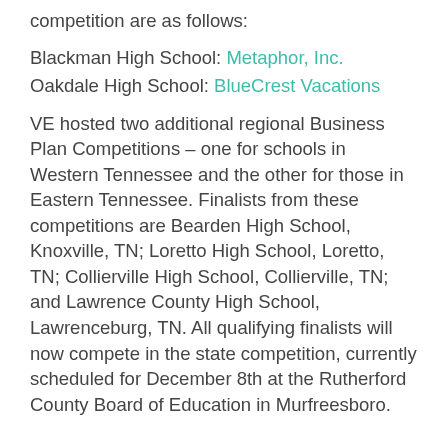competition are as follows:
Blackman High School: Metaphor, Inc.
Oakdale High School: BlueCrest Vacations
VE hosted two additional regional Business Plan Competitions – one for schools in Western Tennessee and the other for those in Eastern Tennessee. Finalists from these competitions are Bearden High School, Knoxville, TN; Loretto High School, Loretto, TN; Collierville High School, Collierville, TN; and Lawrence County High School, Lawrenceburg, TN. All qualifying finalists will now compete in the state competition, currently scheduled for December 8th at the Rutherford County Board of Education in Murfreesboro.